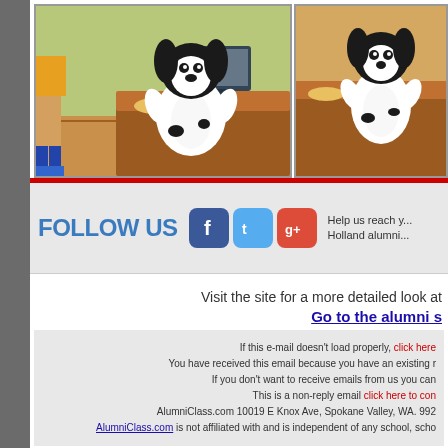[Figure (illustration): Comic strip panels showing a cartoon dog character behind a desk/counter, with a person visible on the left side. Two panels side by side depicting an animated scene.]
FOLLOW US
[Figure (logo): Social media icons: Facebook (blue), Twitter (light blue), Google+ (red)]
Help us reach y... Holland alumni...
Visit the site for a more detailed look at
Go to the alumni s
If this e-mail doesn't load properly, click here
You have received this email because you have an existing r
If you don't want to receive emails from us you can
This is a non-reply email click here to con
AlumniClass.com 10019 E Knox Ave, Spokane Valley, WA. 992
AlumniClass.com is not affiliated with and is independent of any school, scho